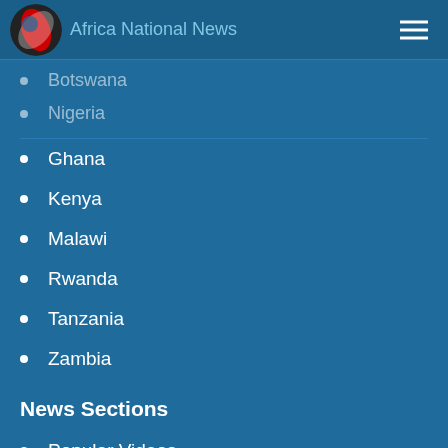Africa National News
Botswana
Nigeria
Ghana
Kenya
Malawi
Rwanda
Tanzania
Zambia
News Sections
Popular Videos
Value Added Services
Mobile
Business
Internet
Telecoms
Government